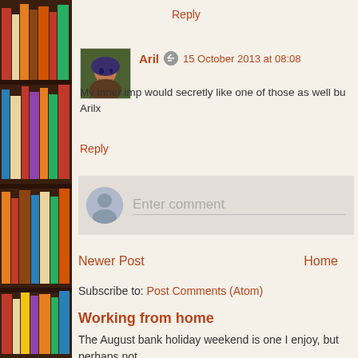Reply
Aril  15 October 2013 at 08:08
My inner imp would secretly like one of those as well bu
Arilx
Reply
Enter comment
Newer Post   Home
Subscribe to: Post Comments (Atom)
Working from home
The August bank holiday weekend is one I enjoy, but perhaps not people head out of the door in search o...